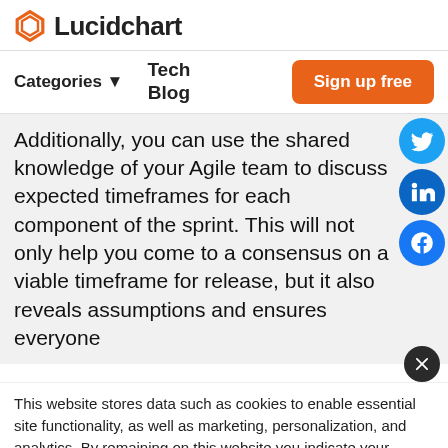Lucidchart
Categories ▼   Tech Blog   Sign up free
Additionally, you can use the shared knowledge of your Agile team to discuss expected timeframes for each component of the sprint. This will not only help you come to a consensus on a viable timeframe for release, but it also reveals assumptions and ensures everyone
This website stores data such as cookies to enable essential site functionality, as well as marketing, personalization, and analytics. By remaining on this website you indicate your consent. Cookie Policy